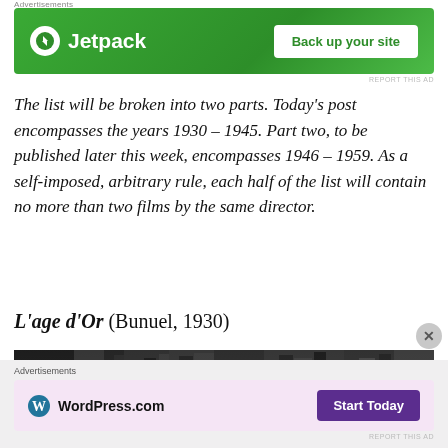[Figure (other): Jetpack advertisement banner — green background with Jetpack logo and 'Back up your site' button]
The list will be broken into two parts. Today's post encompasses the years 1930 – 1945. Part two, to be published later this week, encompasses 1946 – 1959. As a self-imposed, arbitrary rule, each half of the list will contain no more than two films by the same director.
L'age d'Or (Bunuel, 1930)
[Figure (photo): Black and white film still from L'age d'Or showing draped curtains or fabric in a dark interior]
[Figure (other): WordPress.com advertisement banner — pink/lavender background with WordPress.com logo and 'Start Today' button]